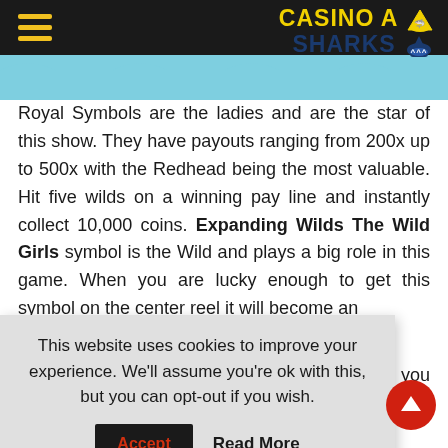CASINO A SHARKS
Royal Symbols are the ladies and are the star of this show. They have payouts ranging from 200x up to 500x with the Redhead being the most valuable. Hit five wilds on a winning pay line and instantly collect 10,000 coins. Expanding Wilds The Wild Girls symbol is the Wild and plays a big role in this game. When you are lucky enough to get this symbol on the center reel it will become an ... remain frozen ... spin. This is a ... and Sexy. The ... an Epic $112
This website uses cookies to improve your experience. We'll assume you're ok with this, but you can opt-out if you wish.
Accept   Read More
... ol and you need only three of these anywhere on the screen to trigger